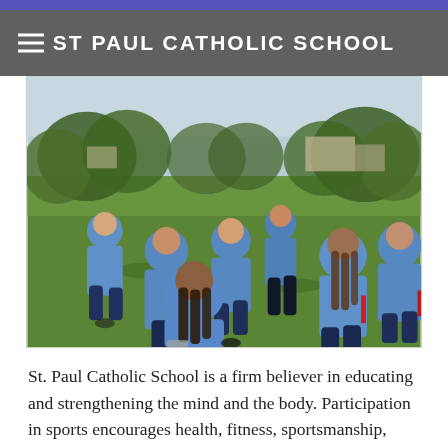ST PAUL CATHOLIC SCHOOL
[Figure (photo): Children in blue shirts playing flag football on a green grass field outdoors, with trees and buildings visible in the background.]
St. Paul Catholic School is a firm believer in educating and strengthening the mind and the body. Participation in sports encourages health, fitness, sportsmanship, appreciation of rules and care for equipment. Every child enrolled in kindergarten through 8th grade at St. Paul Catholic School has physical education as a part of the